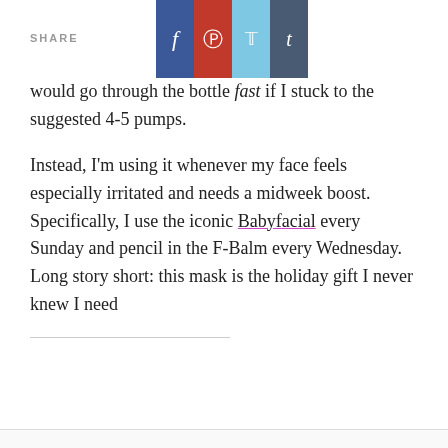SHARE
would go through the bottle fast if I stuck to the suggested 4-5 pumps.
Instead, I'm using it whenever my face feels especially irritated and needs a midweek boost. Specifically, I use the iconic Babyfacial every Sunday and pencil in the F-Balm every Wednesday. Long story short: this mask is the holiday gift I never knew I need